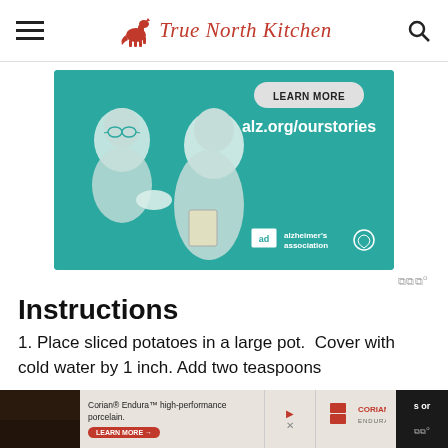True North Kitchen
[Figure (illustration): Alzheimer's Association advertisement banner: teal background with illustration of two people, 'LEARN MORE' button, text 'alz.org/ourstories', and Alzheimer's Association logo with 'ad' badge.]
ad alzheimer's association
Instructions
1. Place sliced potatoes in a large pot.  Cover with cold water by 1 inch. Add two teaspoons
[Figure (screenshot): Bottom advertisement bar: Corian Endura high-performance porcelain ad with LEARN MORE button, Corian Endura logo, and Mediavine watermark.]